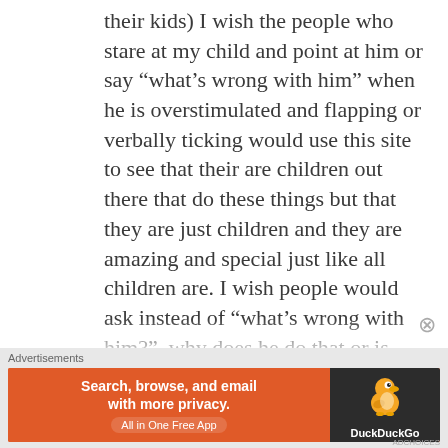their kids) I wish the people who stare at my child and point at him or say “what’s wrong with him” when he is overstimulated and flapping or verbally ticking would use this site to see that their are children out there that do these things but that they are just children and they are amazing and special just like all children are. I wish people would ask instead of “what’s wrong with him?”, why does he do that or is there something he needs”. I know I would love a chance to have a conversation sometimes about his
[Figure (other): DuckDuckGo advertisement banner: orange background on left with text 'Search, browse, and email with more privacy. All in One Free App', dark background on right with DuckDuckGo duck logo and brand name.]